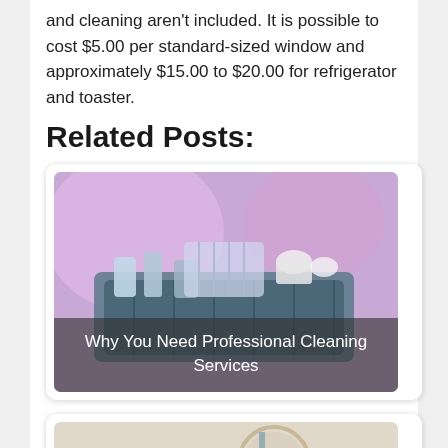and cleaning aren't included. It is possible to cost $5.00 per standard-sized window and approximately $15.00 to $20.00 for refrigerator and toaster.
Related Posts:
[Figure (photo): Photo of cleaning supplies/basket with text overlay 'Why You Need Professional Cleaning Services']
[Figure (photo): Photo of someone playing piano/carpet scene with text overlay 'Why Carpet Cleaning Services Is Important']